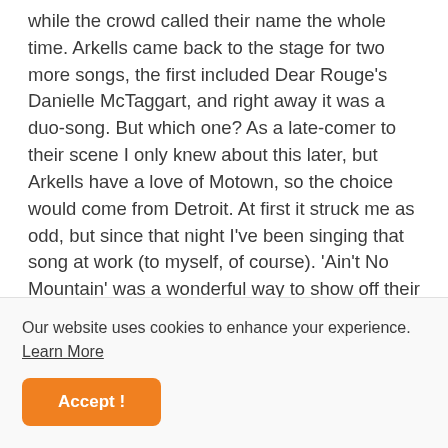while the crowd called their name the whole time. Arkells came back to the stage for two more songs, the first included Dear Rouge's Danielle McTaggart, and right away it was a duo-song. But which one? As a late-comer to their scene I only knew about this later, but Arkells have a love of Motown, so the choice would come from Detroit. At first it struck me as odd, but since that night I've been singing that song at work (to myself, of course). 'Ain't No Mountain' was a wonderful way to show off their passion for music, and McTaggart pulled off Tammi Terrell's part effortlessly. Looking at their tour stats they've played ABBA's 'Dancing Queen' considerably more than all other covers combined, making
Our website uses cookies to enhance your experience. Learn More
Accept!